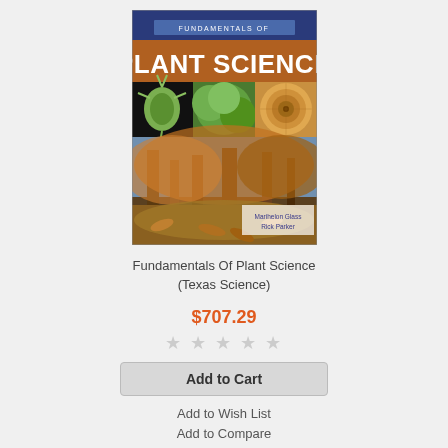[Figure (illustration): Book cover of Fundamentals of Plant Science (Texas Science) by Marihelon Glass and Rick Parker. Blue top bar with 'FUNDAMENTALS OF' in small text, orange/brown banner with 'PLANT SCIENCE' in large white letters, a 3-panel photo strip showing a spiky plant, green leaves, and a wood cross-section, below which is a large photo of autumn trees and fallen leaves, with authors' names at bottom right.]
Fundamentals Of Plant Science (Texas Science)
$707.29
★★★★★
Add to Cart
Add to Wish List
Add to Compare